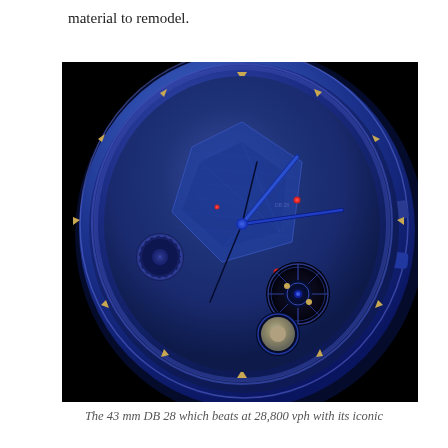material to remodel.
[Figure (photo): Close-up macro photograph of a luxury blue watch (DB 28) face showing its tourbillon mechanism, blue dial with gold hour markers, blue hands, exposed movement parts, and a moonphase complication. The watch has an angular geometric dial design with a futuristic aesthetic, shot against a black background.]
The 43 mm DB 28 which beats at 28,800 vph with its iconic